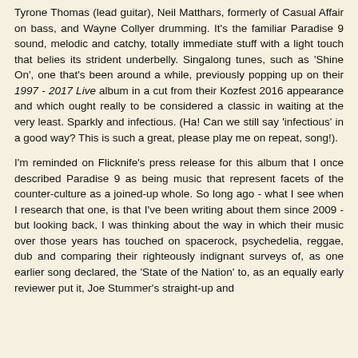Tyrone Thomas (lead guitar), Neil Matthars, formerly of Casual Affair on bass, and Wayne Collyer drumming. It's the familiar Paradise 9 sound, melodic and catchy, totally immediate stuff with a light touch that belies its strident underbelly. Singalong tunes, such as 'Shine On', one that's been around a while, previously popping up on their 1997 - 2017 Live album in a cut from their Kozfest 2016 appearance and which ought really to be considered a classic in waiting at the very least. Sparkly and infectious. (Ha! Can we still say 'infectious' in a good way? This is such a great, please play me on repeat, song!).
I'm reminded on Flicknife's press release for this album that I once described Paradise 9 as being music that represent facets of the counter-culture as a joined-up whole. So long ago - what I see when I research that one, is that I've been writing about them since 2009 - but looking back, I was thinking about the way in which their music over those years has touched on spacerock, psychedelia, reggae, dub and comparing their righteously indignant surveys of, as one earlier song declared, the 'State of the Nation' to, as an equally early reviewer put it, Joe Stummer's straight-up and